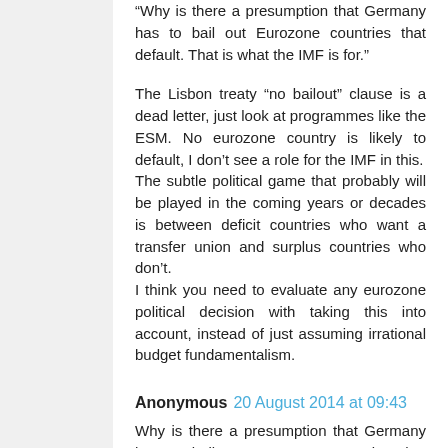"Why is there a presumption that Germany has to bail out Eurozone countries that default. That is what the IMF is for."

The Lisbon treaty "no bailout" clause is a dead letter, just look at programmes like the ESM. No eurozone country is likely to default, I don't see a role for the IMF in this.
The subtle political game that probably will be played in the coming years or decades is between deficit countries who want a transfer union and surplus countries who don't.
I think you need to evaluate any eurozone political decision with taking this into account, instead of just assuming irrational budget fundamentalism.
Anonymous 20 August 2014 at 09:43
Why is there a presumption that Germany has to bail out Eurozone countries that default. That is what the IMF is for. But perhaps an IMF bail out would be less kind to creditors e.g. German...